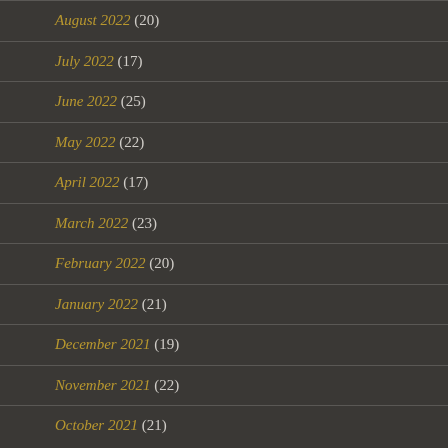August 2022 (20)
July 2022 (17)
June 2022 (25)
May 2022 (22)
April 2022 (17)
March 2022 (23)
February 2022 (20)
January 2022 (21)
December 2021 (19)
November 2021 (22)
October 2021 (21)